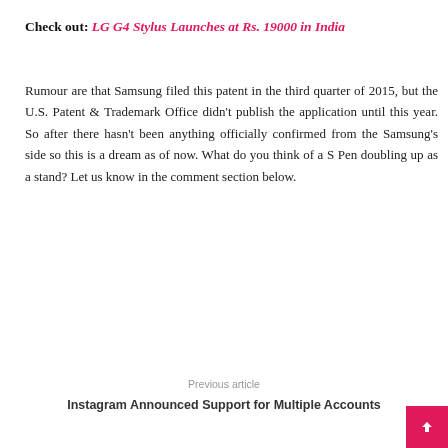Check out: LG G4 Stylus Launches at Rs. 19000 in India
Rumour are that Samsung filed this patent in the third quarter of 2015, but the U.S. Patent & Trademark Office didn't publish the application until this year. So after there hasn't been anything officially confirmed from the Samsung's side so this is a dream as of now. What do you think of a S Pen doubling up as a stand? Let us know in the comment section below.
[Figure (infographic): Social sharing bar with icons for Facebook, Twitter, Google+, Reddit, Pinterest, LinkedIn, Tumblr, WhatsApp]
Previous article
Instagram Announced Support for Multiple Accounts